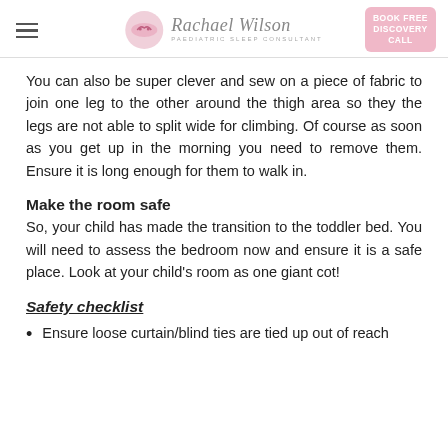Rachael Wilson — Paediatric Sleep Consultant | BOOK FREE DISCOVERY CALL
You can also be super clever and sew on a piece of fabric to join one leg to the other around the thigh area so they the legs are not able to split wide for climbing. Of course as soon as you get up in the morning you need to remove them. Ensure it is long enough for them to walk in.
Make the room safe
So, your child has made the transition to the toddler bed. You will need to assess the bedroom now and ensure it is a safe place. Look at your child's room as one giant cot!
Safety checklist
Ensure loose curtain/blind ties are tied up out of reach